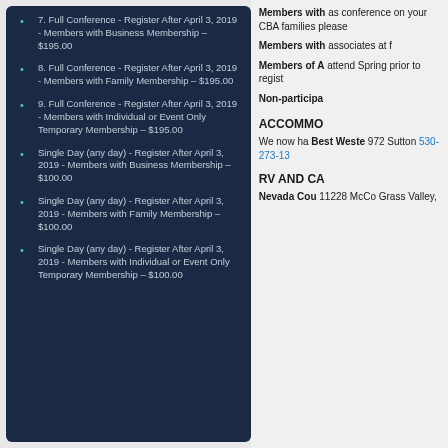7. Full Conference - Register After April 3, 2019 - Members with Business Membership – $195.00
8. Full Conference - Register After April 3, 2019 - Members with Family Membership – $195.00
9. Full Conference - Register After April 3, 2019 - Members with Individual or Event Only Temporary Membership – $195.00
Single Day (any day) - Register After April 3, 2019 - Members with Business Membership – $100.00
Single Day (any day) - Register After April 3, 2019 - Members with Family Membership – $100.00
Single Day (any day) - Register After April 3, 2019 - Members with Individual or Event Only Temporary Membership – $100.00
Members with... as conference... on your CBA... families please...
Members with... associates at f...
Members of A... attend Spring... prior to regist...
Non-participa...
ACCOMMO...
We now ha... Best Weste... 972 Sutton... 530-273-13...
RV AND CA...
Nevada Cou... 11228 McCo... Grass Valley,...